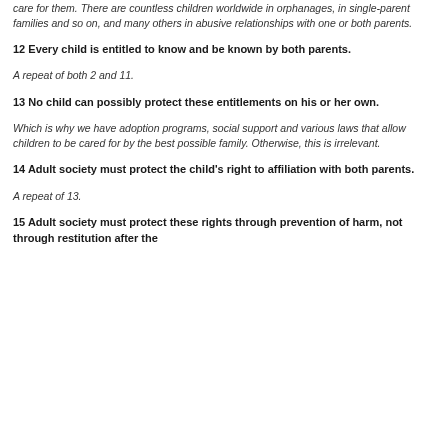care for them. There are countless children worldwide in orphanages, in single-parent families and so on, and many others in abusive relationships with one or both parents.
12 Every child is entitled to know and be known by both parents.
A repeat of both 2 and 11.
13 No child can possibly protect these entitlements on his or her own.
Which is why we have adoption programs, social support and various laws that allow children to be cared for by the best possible family. Otherwise, this is irrelevant.
14 Adult society must protect the child's right to affiliation with both parents.
A repeat of 13.
15 Adult society must protect these rights through prevention of harm, not through restitution after the